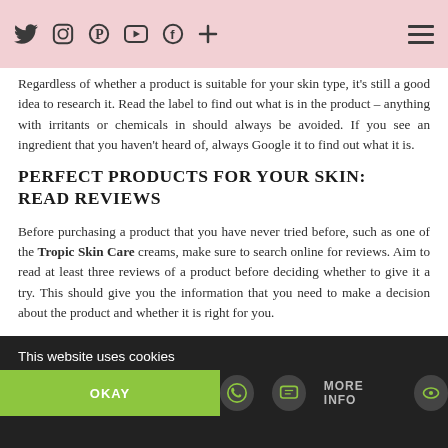Social media navigation icons and hamburger menu
Regardless of whether a product is suitable for your skin type, it's still a good idea to research it. Read the label to find out what is in the product – anything with irritants or chemicals in should always be avoided. If you see an ingredient that you haven't heard of, always Google it to find out what it is.
PERFECT PRODUCTS FOR YOUR SKIN: READ REVIEWS
Before purchasing a product that you have never tried before, such as one of the Tropic Skin Care creams, make sure to search online for reviews. Aim to read at least three reviews of a product before deciding whether to give it a try. This should give you the information that you need to make a decision about the product and whether it is right for you.
DO A PATCH TEST
This website uses cookies